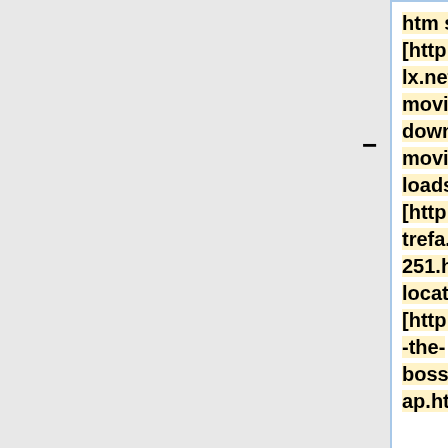htm sitemap] [http://vihencbr.0lx.net/porn-movie-down.html porn movie downloads] [http://roladarh.strefa.pl/news-251.html movie locations uk] [http://varpasz.is-the-boss.com/sitemap.htm webmap]
+
[http://acsitzar.0lx.net/news-paris-hilton-music-2008-11-15.html paris hilton music video] [http://vihencbr.0